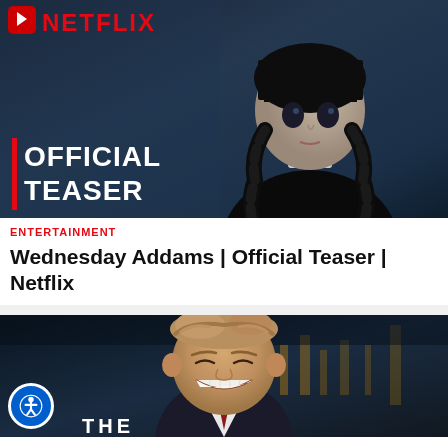[Figure (screenshot): Netflix Wednesday Addams Official Teaser thumbnail — dark blue background showing a pale young woman with black braids, in black dress with white collar, looking serious. 'NETFLIX' logo in red top-left, red play button icon, white text 'OFFICIAL TEASER' with red vertical bar on left side.]
ENTERTAINMENT
Wednesday Addams | Official Teaser | Netflix
[Figure (screenshot): Late night TV show thumbnail showing a smiling middle-aged man with light brown/sandy hair against a blurred city nightscape background. Text 'THE' visible at bottom. Accessibility button with wheelchair icon in bottom-left corner.]